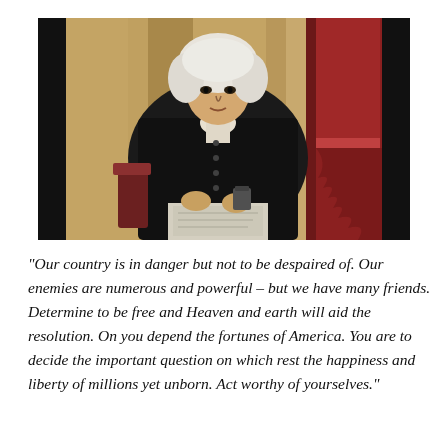[Figure (photo): Oil portrait painting of a man in 18th century attire — white powdered wig, dark coat — seated at a table, with a red draped curtain in the background.]
“Our country is in danger but not to be despaired of. Our enemies are numerous and powerful – but we have many friends. Determine to be free and Heaven and earth will aid the resolution. On you depend the fortunes of America. You are to decide the important question on which rest the happiness and liberty of millions yet unborn. Act worthy of yourselves.” – J